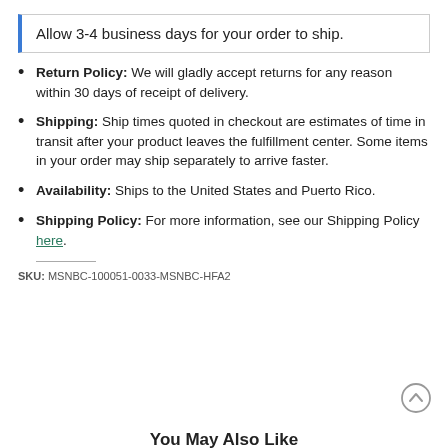Allow 3-4 business days for your order to ship.
Return Policy: We will gladly accept returns for any reason within 30 days of receipt of delivery.
Shipping: Ship times quoted in checkout are estimates of time in transit after your product leaves the fulfillment center. Some items in your order may ship separately to arrive faster.
Availability: Ships to the United States and Puerto Rico.
Shipping Policy: For more information, see our Shipping Policy here.
SKU: MSNBC-100051-0033-MSNBC-HFA2
You May Also Like